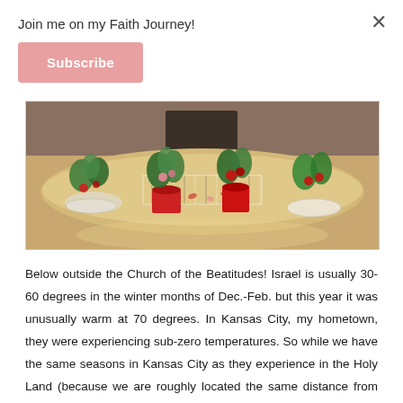Join me on my Faith Journey!
Subscribe
[Figure (photo): Photo of flower arrangements and potted plants on a wooden table inside a church, likely the Church of the Beatitudes in Israel.]
Below outside the Church of the Beatitudes! Israel is usually 30-60 degrees in the winter months of Dec.-Feb. but this year it was unusually warm at 70 degrees. In Kansas City, my hometown, they were experiencing sub-zero temperatures. So while we have the same seasons in Kansas City as they experience in the Holy Land (because we are roughly located the same distance from the